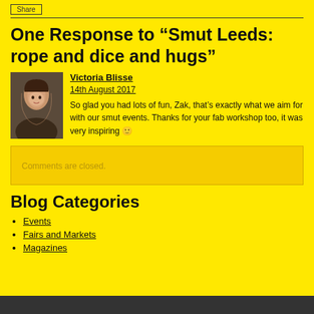Share
One Response to “Smut Leeds: rope and dice and hugs”
Victoria Blisse
14th August 2017
So glad you had lots of fun, Zak, that’s exactly what we aim for with our smut events. Thanks for your fab workshop too, it was very inspiring 🙂
Comments are closed.
Blog Categories
Events
Fairs and Markets
Magazines